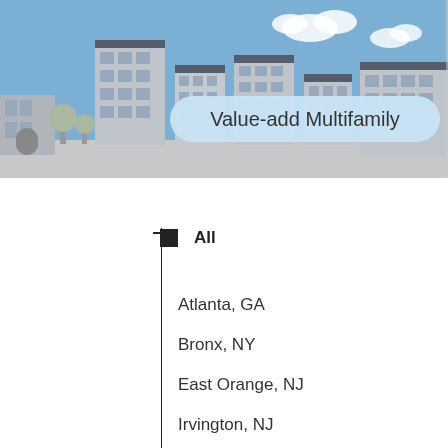[Figure (illustration): City skyline illustration with buildings in grey and blue sky with clouds, and a light blue rounded-rectangle label reading 'Value-add Multifamily' in the center-foreground.]
All
Atlanta, GA
Bronx, NY
East Orange, NJ
Irvington, NJ